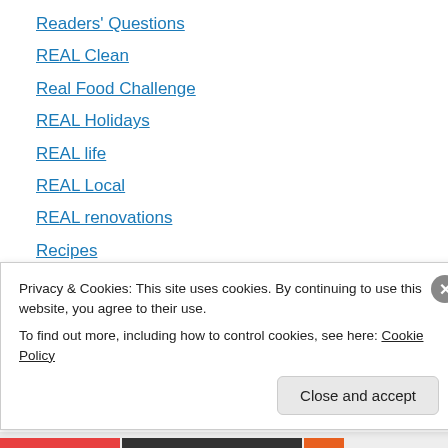Readers' Questions
REAL Clean
Real Food Challenge
REAL Holidays
REAL life
REAL Local
REAL renovations
Recipes
Recyling
Relationships
Replanting a Life
Routines
Seasons
Privacy & Cookies: This site uses cookies. By continuing to use this website, you agree to their use.
To find out more, including how to control cookies, see here: Cookie Policy